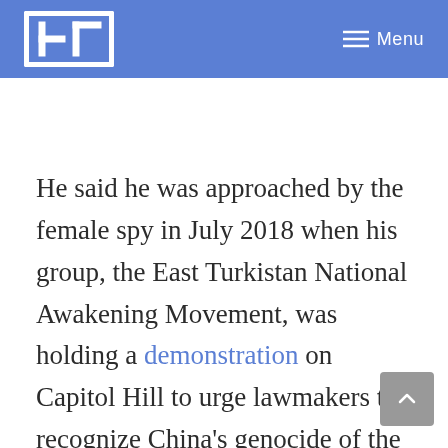LT  Menu
He said he was approached by the female spy in July 2018 when his group, the East Turkistan National Awakening Movement, was holding a demonstration on Capitol Hill to urge lawmakers to recognize China's genocide of the Uyghur people.